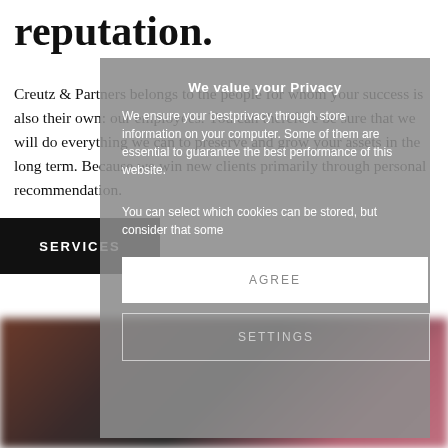reputation.
Creutz & Partners belongs to the people for whom your success is also their own: our employees. You can therefore be sure that we will do everything we can to preserve and grow your assets in the long term. Because we win new clients primarily through personal recommendation.
[Figure (screenshot): Privacy consent overlay modal with 'We value your Privacy' heading, body text about cookies, AGREE button, and SETTINGS button over a semi-transparent grey background]
SERVICES